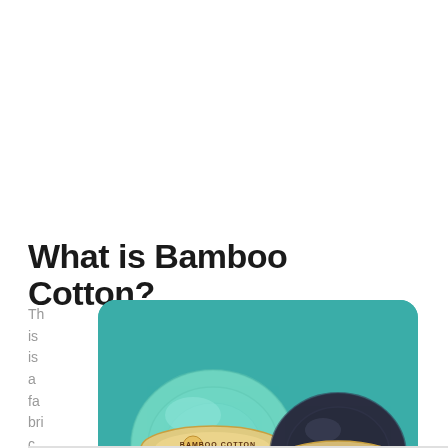What is Bamboo Cotton?
This is a fa
bri…
[Figure (photo): Two balls of Katia Bamboo Cotton yarn — one mint green and one navy/dark blue — sitting on a teal background with their beige labels visible reading 'BAMBOO COTTON']